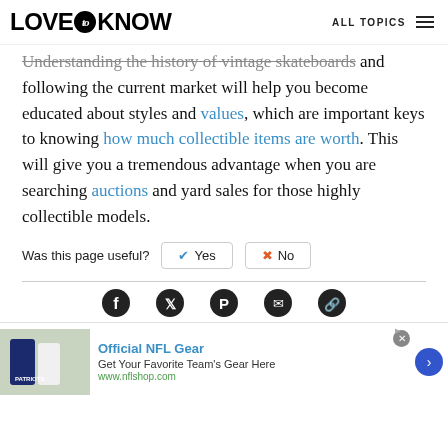LOVE to KNOW   ALL TOPICS
Understanding the history of vintage skateboards and following the current market will help you become educated about styles and values, which are important keys to knowing how much collectible items are worth. This will give you a tremendous advantage when you are searching auctions and yard sales for those highly collectible models.
Was this page useful?  ✔ Yes  ✖ No
[Figure (infographic): Social sharing icons: Facebook, Twitter, Pinterest, Email, Link]
[Figure (infographic): Advertisement banner: Official NFL Gear - Get Your Favorite Team's Gear Here - www.nflshop.com]